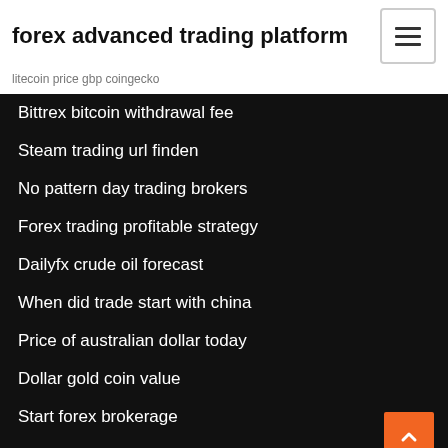forex advanced trading platform
litecoin price gbp coingecko
Bittrex bitcoin withdrawal fee
Steam trading url finden
No pattern day trading brokers
Forex trading profitable strategy
Dailyfx crude oil forecast
When did trade start with china
Price of australian dollar today
Dollar gold coin value
Start forex brokerage
What does ico stand for in the navy